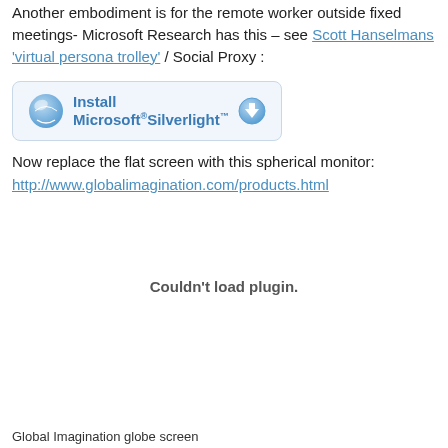Another embodiment is for the remote worker outside fixed meetings- Microsoft Research has this – see Scott Hanselmans 'virtual persona trolley' / Social Proxy :
[Figure (screenshot): Install Microsoft Silverlight button/banner with logo icon and download arrow icon]
Now replace the flat screen with this spherical monitor:
http://www.globalimagination.com/products.html
Couldn't load plugin.
Global Imagination globe screen